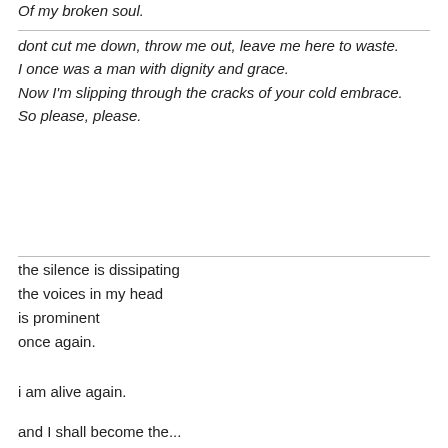Of my broken soul.
dont cut me down, throw me out, leave me here to waste.
I once was a man with dignity and grace.
Now I'm slipping through the cracks of your cold embrace.
So please, please.
the silence is dissipating
the voices in my head
is prominent
once again.
i am alive again.
...